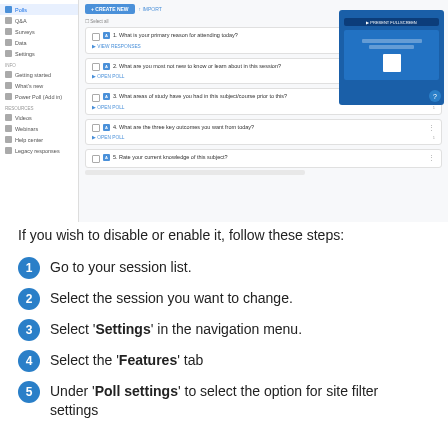[Figure (screenshot): Screenshot of a polling/survey application interface showing a sidebar navigation with items like Q&A, Surveys, Data, Settings, Getting started, What's new, Power Poll (add-in), Videos, Webinars, Help center, Legacy responses. Main area shows a list of poll questions with a blue 'CREATE NEW' button and an IMPORT option. A preview panel on the right shows a presentation screen. Questions listed include: 1. What is your primary reason for attending today? 2. What are you most not new to know or learn about in this session? 3. What areas of study have you had in this subject/course prior to this? 4. What are the three key outcomes you want from today? 5. Rate your current knowledge of this subject?]
If you wish to disable or enable it, follow these steps:
Go to your session list.
Select the session you want to change.
Select 'Settings' in the navigation menu.
Select the 'Features' tab
Under 'Poll settings' to select the option for site filter settings